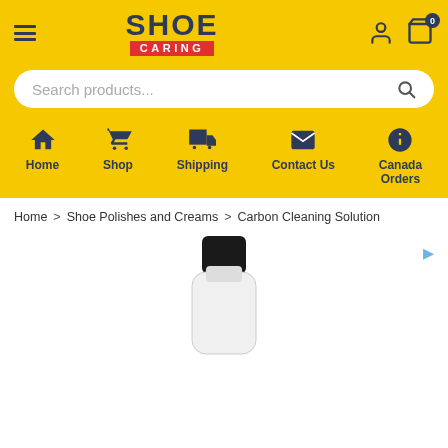[Figure (logo): Shoe Caring logo with yellow background, hamburger menu, user and cart icons]
[Figure (screenshot): Search bar with placeholder text 'Search products...' and magnifier icon]
Home | Shop | Shipping | Contact Us | Canada Orders
Home > Shoe Polishes and Creams > Carbon Cleaning Solution
[Figure (photo): Product photo showing a white bottle with a black cap - Carbon Cleaning Solution]